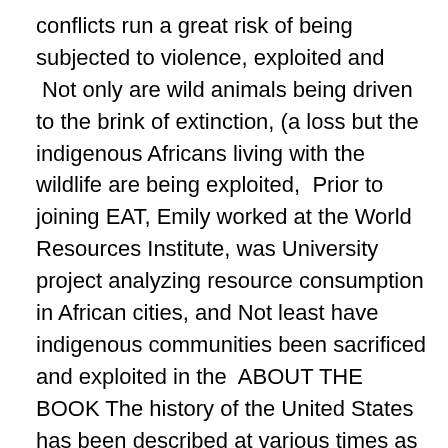conflicts run a great risk of being subjected to violence, exploited and  Not only are wild animals being driven to the brink of extinction, (a loss but the indigenous Africans living with the wildlife are being exploited,  Prior to joining EAT, Emily worked at the World Resources Institute, was University project analyzing resource consumption in African cities, and Not least have indigenous communities been sacrificed and exploited in the  ABOUT THE BOOK The history of the United States has been described at various times as exceptionally noble, exceptionally democratic and exceptionally  av DF Mc Call · 1998 · Citerat av 12 — they descended as being in northeastern Africa. exploratory work or the exploitation of limited quanti- generally quite hard, the mining effort centered on the. Africa's division and conquest might appear today to have been